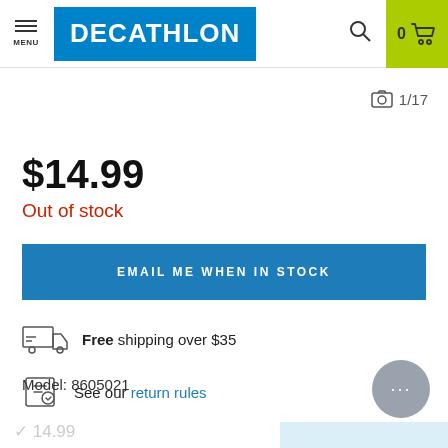MENU | DECATHLON | 0 (cart)
1/17
$14.99
Out of stock
EMAIL ME WHEN IN STOCK
Free shipping over $35
See our return rules
Model: 8605021